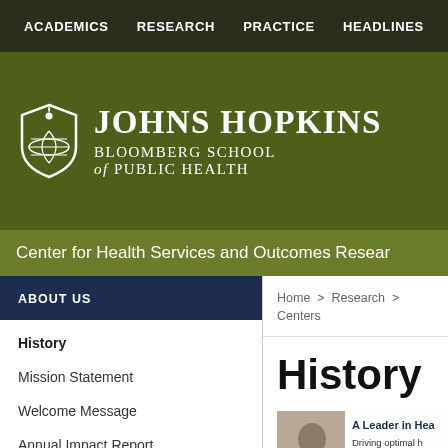ACADEMICS   RESEARCH   PRACTICE   HEADLINES
[Figure (logo): Johns Hopkins Bloomberg School of Public Health logo with shield icon and white text on olive green background]
Center for Health Services and Outcomes Research
ABOUT US
Home > Research > Centers
History
Mission Statement
Welcome Message
Annual Impact Report
CHSOR's 50th Anniversary
FACULTY AND STAFF
History
[Figure (photo): A Leader in Health card with portrait photos]
A Leader in Health
Driving optimal h